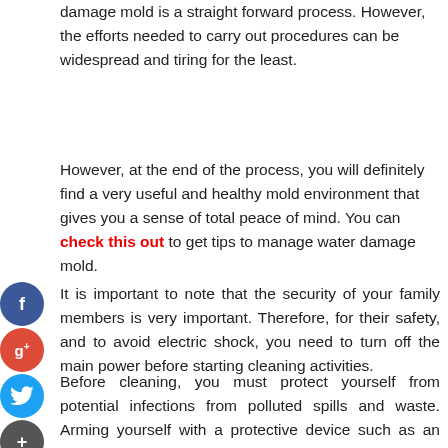The right black mold removal method to handle water damage mold is a straight forward process. However, the efforts needed to carry out procedures can be widespread and tiring for the least.
However, at the end of the process, you will definitely find a very useful and healthy mold environment that gives you a sense of total peace of mind. You can check this out to get tips to manage water damage mold.
It is important to note that the security of your family members is very important. Therefore, for their safety, and to avoid electric shock, you need to turn off the main power before starting cleaning activities.
Before cleaning, you must protect yourself from potential infections from polluted spills and waste. Arming yourself with a protective device such as an N95 mask, protective clothing, boots, and gloves before you try to clean.